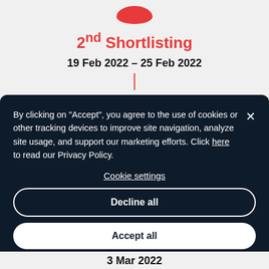2nd Shortlisting
19 Feb 2022 - 25 Feb 2022
By clicking on "Accept", you agree to the use of cookies or other tracking devices to improve site navigation, analyze site usage, and support our marketing efforts. Click here to read our Privacy Policy.
Cookie settings
Decline all
Accept all
3 Mar 2022